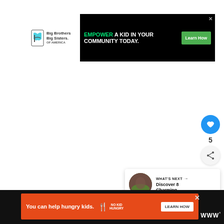[Figure (logo): Big Brothers Big Sisters of America logo with stylized B icon]
[Figure (screenshot): Top advertisement banner: black background with green text 'EMPOWER A KID IN YOUR COMMUNITY TODAY.' and a green Learn How button, with X close button]
[Figure (screenshot): Floating like button (blue circle with heart icon), count of 5, and share button (grey circle with share icon)]
[Figure (screenshot): What's Next panel with thumbnail and text 'Discover 8 Charming...']
[Figure (screenshot): Bottom advertisement banner: orange background with white text 'You can help hungry kids.' No Kid Hungry logo and LEARN HOW button on black background, with X close button and watermark logo]